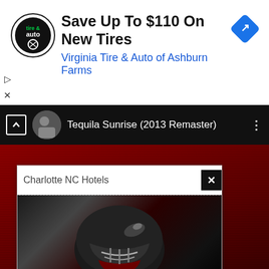[Figure (screenshot): Virginia Tire & Auto advertisement banner with circular logo, bold headline 'Save Up To $110 On New Tires', subtitle 'Virginia Tire & Auto of Ashburn Farms', and a blue diamond navigation icon on the right. Play and close controls on the left side.]
Tequila Sunrise (2013 Remaster)
[Figure (screenshot): Aggie - Eagle Classic Hotels advertisement overlay card on a dark red YouTube-like video background. Card shows 'Charlotte NC Hotels' header with X close button, an image of a football helmet, text 'Aggie - Eagle Classic Hotels', and a dark red 'Visit Site' button.]